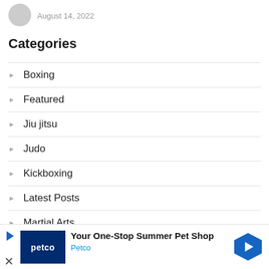August 14, 2022
Categories
Boxing
Featured
Jiu jitsu
Judo
Kickboxing
Latest Posts
Martial Arts
Mixed Martial Arts
Mua
[Figure (other): Petco advertisement banner: Your One-Stop Summer Pet Shop, Petco logo, blue direction arrow sign]
Sh...